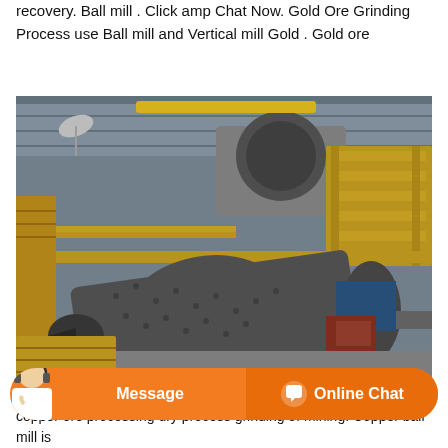recovery. Ball mill . Click amp Chat Now. Gold Ore Grinding Process use Ball mill and Vertical mill Gold . Gold ore
[Figure (photo): Industrial ball mill grinding equipment inside a large warehouse/plant with yellow metal staircases and platforms, large cylindrical ball mills visible]
copper ore processing dry process grinding of mining. Copper ball mill is